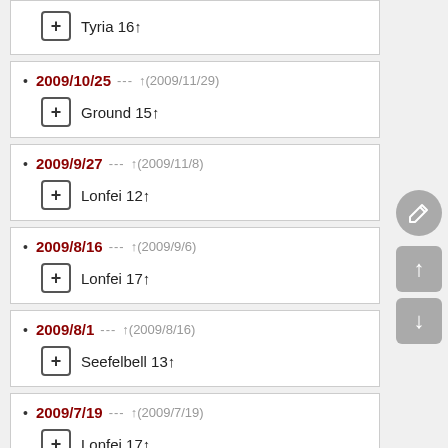Tyria 16↑
2009/10/25 --- ↑(2009/11/29) Ground 15↑
2009/9/27 --- ↑(2009/11/8) Lonfei 12↑
2009/8/16 --- ↑(2009/9/6) Lonfei 17↑
2009/8/1 --- ↑(2009/8/16) Seefelbell 13↑
2009/7/19 --- ↑(2009/7/19) Lonfei 17↑